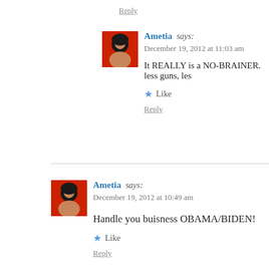Reply
Ametia says:
December 19, 2012 at 11:03 am

It REALLY is a NO-BRAINER. less guns, les

Like

Reply
Ametia says:
December 19, 2012 at 10:49 am

Handle you buisness OBAMA/BIDEN!

Like

Reply